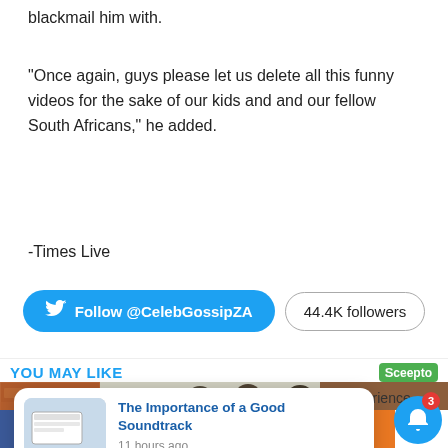blackmail him with.
"Once again, guys please let us delete all this funny videos for the sake of our kids and and our fellow South Africans," he added.
-Times Live
[Figure (screenshot): Twitter Follow @CelebGossipZA button (blue pill) and 44.4K followers count (white pill outline)]
YOU MAY LIKE
[Figure (photo): Band of three men standing in front of a brick wall and garage door]
[Figure (screenshot): Notification popup: thumbnail image on left, title 'The Importance of a Good Soundtrack', time '11 hours ago']
[Figure (screenshot): Bottom share bar with Facebook (26), Twitter, Pinterest, LinkedIn, and more sharing buttons, plus notification bell with badge 3]